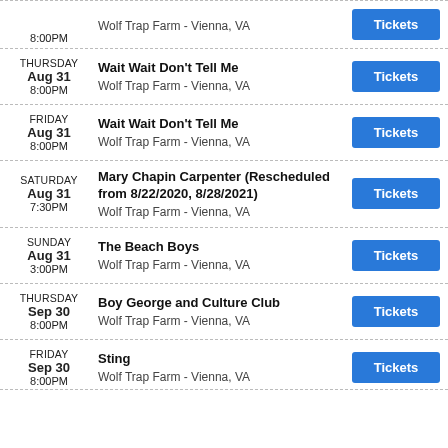THURSDAY Aug 31 8:00PM | Wait Wait Don't Tell Me | Wolf Trap Farm - Vienna, VA | Tickets
FRIDAY Aug 31 8:00PM | Wait Wait Don't Tell Me | Wolf Trap Farm - Vienna, VA | Tickets
SATURDAY Aug 31 7:30PM | Mary Chapin Carpenter (Rescheduled from 8/22/2020, 8/28/2021) | Wolf Trap Farm - Vienna, VA | Tickets
SUNDAY Aug 31 3:00PM | The Beach Boys | Wolf Trap Farm - Vienna, VA | Tickets
THURSDAY Sep 30 8:00PM | Boy George and Culture Club | Wolf Trap Farm - Vienna, VA | Tickets
FRIDAY Sep 30 8:00PM | Sting | Wolf Trap Farm - Vienna, VA | Tickets